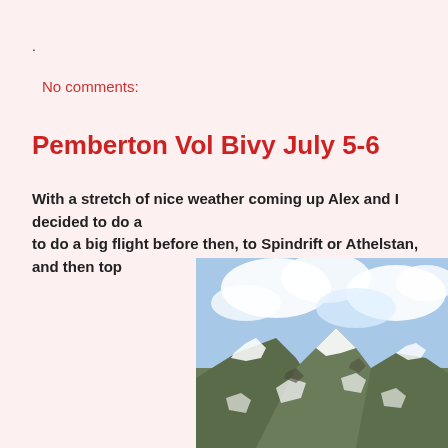.
No comments:
Pemberton Vol Bivy July 5-6
With a stretch of nice weather coming up Alex and I decided to do a big flight before then, to Spindrift or Athelstan, and then top
[Figure (photo): Mountain landscape with snow-covered peaks and cloudy sky, viewed from above. Rocky mountains with patches of snow, blue sky with white clouds in the background.]